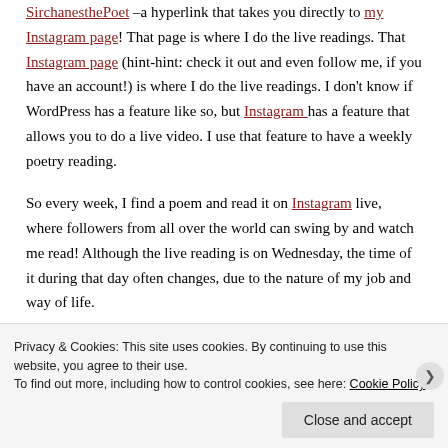SirchanesthePoet –a hyperlink that takes you directly to my Instagram page! That page is where I do the live readings. That Instagram page (hint-hint: check it out and even follow me, if you have an account!) is where I do the live readings. I don't know if WordPress has a feature like so, but Instagram has a feature that allows you to do a live video. I use that feature to have a weekly poetry reading.
So every week, I find a poem and read it on Instagram live, where followers from all over the world can swing by and watch me read! Although the live reading is on Wednesday, the time of it during that day often changes, due to the nature of my job and way of life.
Privacy & Cookies: This site uses cookies. By continuing to use this website, you agree to their use.
To find out more, including how to control cookies, see here: Cookie Policy